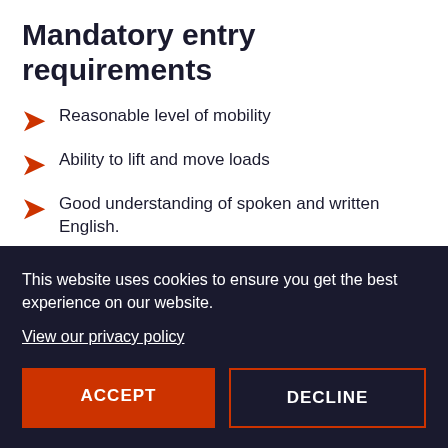Mandatory entry requirements
Reasonable level of mobility
Ability to lift and move loads
Good understanding of spoken and written English.
This website uses cookies to ensure you get the best experience on our website.
View our privacy policy
ACCEPT
DECLINE